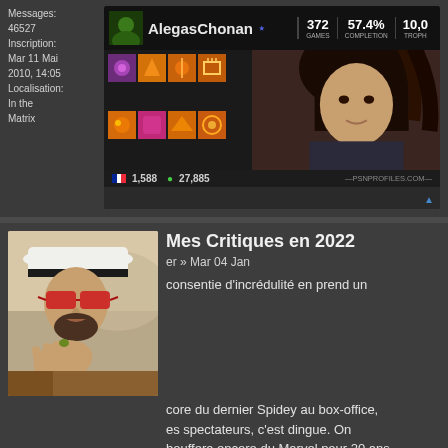Messages: 46527
Inscription: Mar 11 Mai 2010, 14:05
Localisation: In the Matrix
[Figure (screenshot): PSN profile card for AlegasChonan showing 372 games, 57.4% completion, game icons, and trophy count 1,588 / 27,885]
[Figure (photo): Profile photo of a man wearing a white hat and red sunglasses, holding something to his mouth. Labeled Mark Chopper / BkRscar]
Mes Critiques en 2022
er » Mar 04 Jan
consentie d'incrédulité en prend un
core du dernier Spidey au box-office, es spectateurs, c'est dingue. On bouffera encore du Marvel pour 20 ans.
Mark Chopper
BkRscar
🎬🎬🎬🎬🎬
Messages: 40219
Inscription: Dim 12 Fév 2012, 13:14